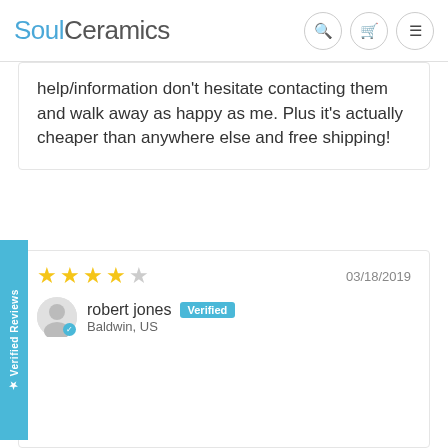SoulCeramics
help/information don't hesitate contacting them and walk away as happy as me. Plus it's actually cheaper than anywhere else and free shipping!
03/18/2019
robert jones — Verified — Baldwin, US
[Figure (photo): Fishing lure spinner bait with black leaf-shaped blade and yellow/orange skirt, hanging against grey background]